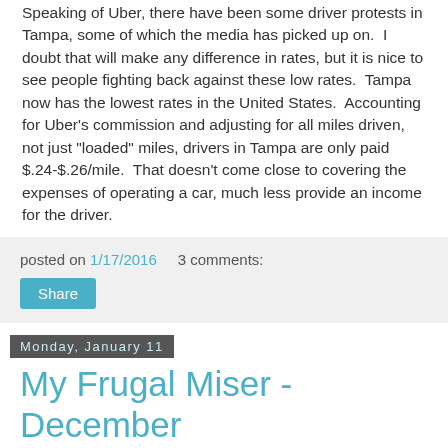Speaking of Uber, there have been some driver protests in Tampa, some of which the media has picked up on. I doubt that will make any difference in rates, but it is nice to see people fighting back against these low rates. Tampa now has the lowest rates in the United States. Accounting for Uber's commission and adjusting for all miles driven, not just "loaded" miles, drivers in Tampa are only paid $.24-$.26/mile. That doesn't come close to covering the expenses of operating a car, much less provide an income for the driver.
posted on 1/17/2016   3 comments:
Share
Monday, January 11
My Frugal Miser - December Expenses: $5,016
December was a mixed bag. On the